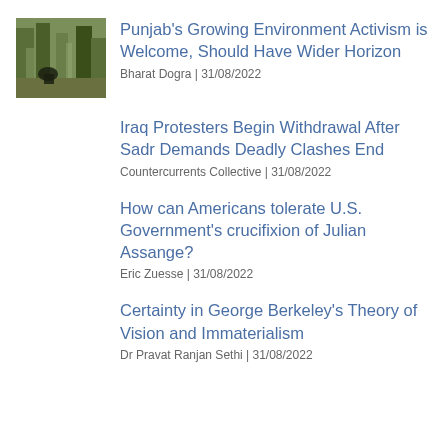[Figure (photo): Thumbnail photo of trees and greenery in an outdoor setting]
Punjab's Growing Environment Activism is Welcome, Should Have Wider Horizon
Bharat Dogra | 31/08/2022
Iraq Protesters Begin Withdrawal After Sadr Demands Deadly Clashes End
Countercurrents Collective | 31/08/2022
How can Americans tolerate U.S. Government's crucifixion of Julian Assange?
Eric Zuesse | 31/08/2022
Certainty in George Berkeley's Theory of Vision and Immaterialism
Dr Pravat Ranjan Sethi | 31/08/2022